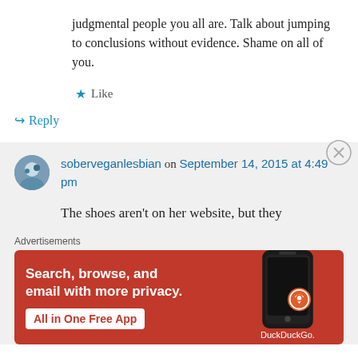judgmental people you all are. Talk about jumping to conclusions without evidence. Shame on all of you.
★ Like
↪ Reply
soberveganlesbian on September 14, 2015 at 4:49 pm
The shoes aren't on her website, but they
Advertisements
[Figure (screenshot): DuckDuckGo advertisement banner: 'Search, browse, and email with more privacy. All in One Free App' with phone image and DuckDuckGo logo]